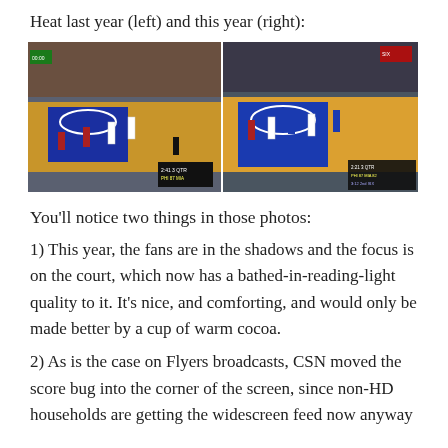Heat last year (left) and this year (right):
[Figure (photo): Side-by-side basketball court photos: left shows last year's broadcast of the 76ers vs Heat game with bright crowd lighting; right shows this year's broadcast with darker crowd and brighter court lighting.]
You'll notice two things in those photos:
1) This year, the fans are in the shadows and the focus is on the court, which now has a bathed-in-reading-light quality to it. It's nice, and comforting, and would only be made better by a cup of warm cocoa.
2) As is the case on Flyers broadcasts, CSN moved the score bug into the corner of the screen, since non-HD households are getting the widescreen feed now anyway